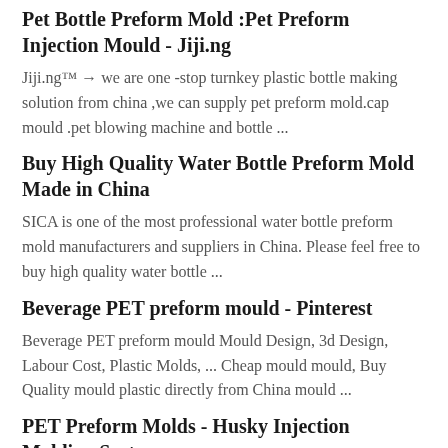Pet Bottle Preform Mold :Pet Preform Injection Mould - Jiji.ng
Jiji.ng™ → we are one -stop turnkey plastic bottle making solution from china ,we can supply pet preform mold.cap mould .pet blowing machine and bottle ...
Buy High Quality Water Bottle Preform Mold Made in China
SICA is one of the most professional water bottle preform mold manufacturers and suppliers in China. Please feel free to buy high quality water bottle ...
Beverage PET preform mould - Pinterest
Beverage PET preform mould Mould Design, 3d Design, Labour Cost, Plastic Molds, ... Cheap mould mould, Buy Quality mould plastic directly from China mould ...
PET Preform Molds - Husky Injection Molding Systems